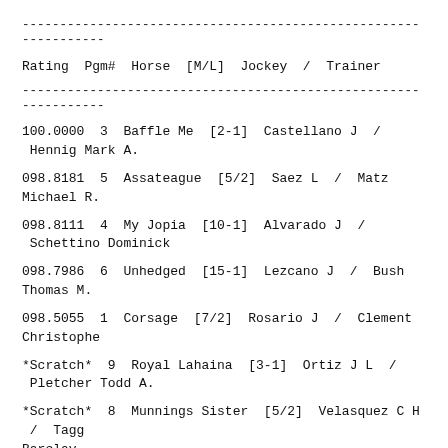----------------------------------------------------------------
| Rating | Pgm# | Horse | [M/L] | Jockey | / | Trainer |
| --- | --- | --- | --- | --- | --- | --- |
| 100.0000 | 3 | Baffle Me | [2-1] | Castellano J | / | Hennig Mark A. |
| 098.8181 | 5 | Assateague | [5/2] | Saez L | / | Matz Michael R. |
| 098.8111 | 4 | My Jopia | [10-1] | Alvarado J | / | Schettino Dominick |
| 098.7986 | 6 | Unhedged | [15-1] | Lezcano J | / | Bush Thomas M. |
| 098.5055 | 1 | Corsage | [7/2] | Rosario J | / | Clement Christophe |
| *Scratch* | 9 | Royal Lahaina | [3-1] | Ortiz J L | / | Pletcher Todd A. |
| *Scratch* | 8 | Munnings Sister | [5/2] | Velasquez C H | / | Tagg Barclay |
----------------------------------------------------------------